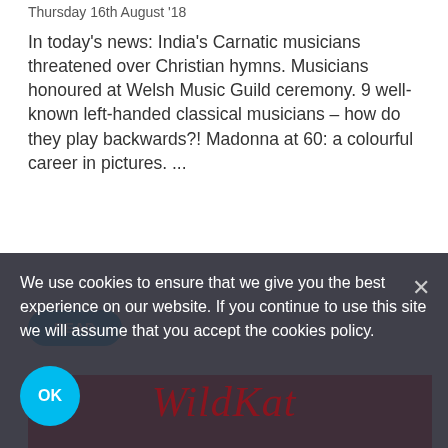Thursday 16th August '18
In today's news: India's Carnatic musicians threatened over Christian hymns. Musicians honoured at Welsh Music Guild ceremony. 9 well-known left-handed classical musicians – how do they play backwards?! Madonna at 60: a colourful career in pictures. ...
READ
[Figure (illustration): Red background image block, partially visible, appears to be a website banner or image]
We use cookies to ensure that we give you the best experience on our website. If you continue to use this site we will assume that you accept the cookies policy.
OK
WildKat